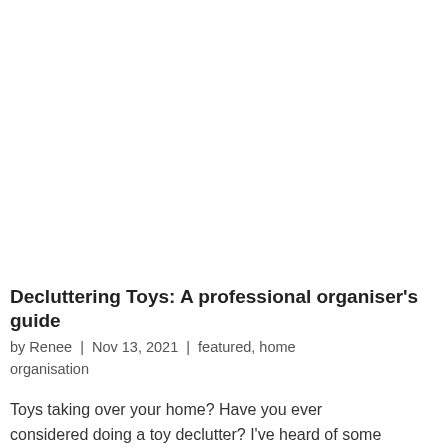Decluttering Toys: A professional organiser's guide
by Renee | Nov 13, 2021 | featured, home organisation
Toys taking over your home? Have you ever considered doing a toy declutter? I've heard of some